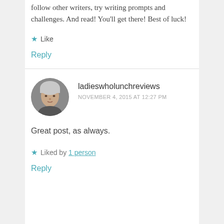follow other writers, try writing prompts and challenges. And read! You'll get there! Best of luck!
★ Like
Reply
ladieswholunchreviews
NOVEMBER 4, 2015 AT 12:27 PM
Great post, as always.
★ Liked by 1 person
Reply